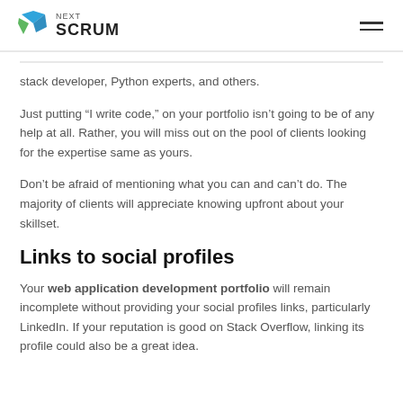NEXT SCRUM
stack developer, Python experts, and others.
Just putting “I write code,” on your portfolio isn’t going to be of any help at all. Rather, you will miss out on the pool of clients looking for the expertise same as yours.
Don’t be afraid of mentioning what you can and can’t do. The majority of clients will appreciate knowing upfront about your skillset.
Links to social profiles
Your web application development portfolio will remain incomplete without providing your social profiles links, particularly LinkedIn. If your reputation is good on Stack Overflow, linking its profile could also be a great idea.